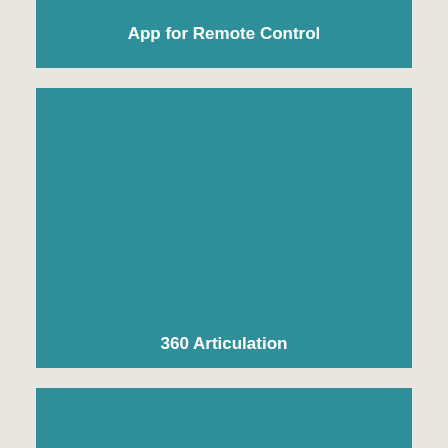[Figure (screenshot): Teal/dark cyan card with bold white text reading 'App for Remote Control']
[Figure (screenshot): Large teal/dark cyan card with bold white text reading '360 Articulation' positioned in lower center area]
[Figure (screenshot): Teal/dark cyan card partially visible at bottom of page, cropped]